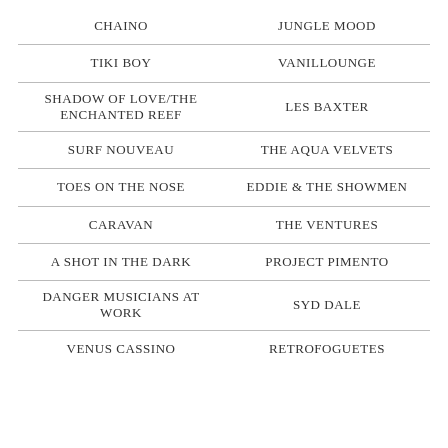| CHAINO | JUNGLE MOOD |
| TIKI BOY | VANILLOUNGE |
| SHADOW OF LOVE/THE ENCHANTED REEF | LES BAXTER |
| SURF NOUVEAU | THE AQUA VELVETS |
| TOES ON THE NOSE | EDDIE & THE SHOWMEN |
| CARAVAN | THE VENTURES |
| A SHOT IN THE DARK | PROJECT PIMENTO |
| DANGER MUSICIANS AT WORK | SYD DALE |
| VENUS CASSINO | RETROFOGUETES |